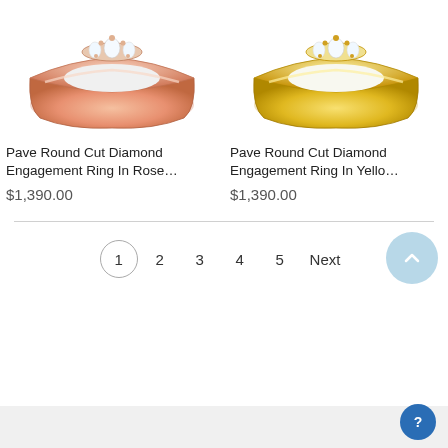[Figure (photo): Rose gold pave round cut diamond engagement ring, top portion visible, white background]
[Figure (photo): Yellow gold pave round cut diamond engagement ring, top portion visible, white background]
Pave Round Cut Diamond Engagement Ring In Rose…
$1,390.00
Pave Round Cut Diamond Engagement Ring In Yello…
$1,390.00
1  2  3  4  5  Next
[Figure (other): Back to top arrow button, light blue circle]
[Figure (other): Help/chat button, dark blue circle with question mark icon]